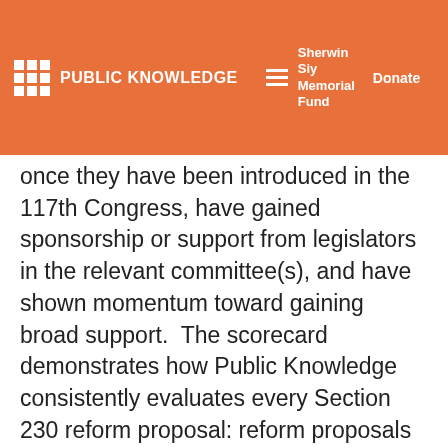PUBLIC KNOWLEDGE | Sherwin Siy Memorial Fund | Donate
once they have been introduced in the 117th Congress, have gained sponsorship or support from legislators in the relevant committee(s), and have shown momentum toward gaining broad support.  The scorecard demonstrates how Public Knowledge consistently evaluates every Section 230 reform proposal: reform proposals that rate poorly are unlikely to promote the public interest.
To download the full description of each